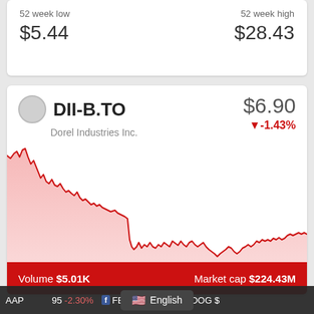| 52 week low | 52 week high |
| --- | --- |
| $5.44 | $28.43 |
DII-B.TO
Dorel Industries Inc.
$6.90
-1.43%
[Figure (area-chart): Area chart showing DII-B.TO stock price over time, with a red line and pink fill. Price starts high on the left, drops sharply in the middle, then stabilizes at a lower level toward the right.]
Volume $5.01K
Market cap $224.43M
English
95 -2.30%
FB - - 0.00%
GOOG $